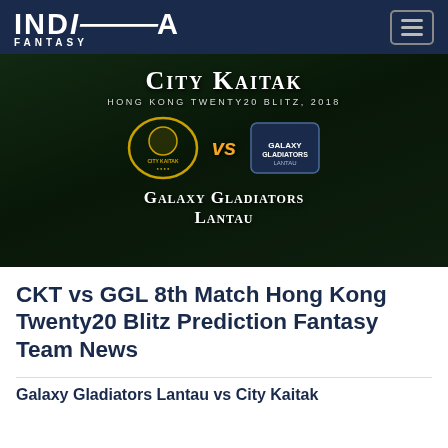INDIA FANTASY
[Figure (illustration): City Kaitak vs Galaxy Gladiators Lantau match banner for Hong Kong Twenty20 Blitz 2018, showing team logos on a cricket stadium background]
CKT vs GGL 8th Match Hong Kong Twenty20 Blitz Prediction Fantasy Team News
Galaxy Gladiators Lantau vs City Kaitak